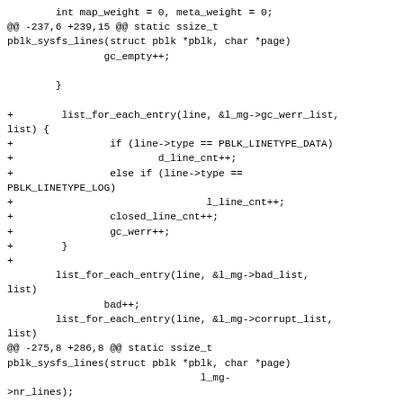int map_weight = 0, meta_weight = 0;
@@ -237,6 +239,15 @@ static ssize_t pblk_sysfs_lines(struct pblk *pblk, char *page)
                gc_empty++;

        }

+        list_for_each_entry(line, &l_mg->gc_werr_list, list) {
+                if (line->type == PBLK_LINETYPE_DATA)
+                        d_line_cnt++;
+                else if (line->type ==
PBLK_LINETYPE_LOG)
+                                l_line_cnt++;
+                closed_line_cnt++;
+                gc_werr++;
+        }
+
        list_for_each_entry(line, &l_mg->bad_list, list)
                bad++;
        list_for_each_entry(line, &l_mg->corrupt_list, list)
@@ -275,8 +286,8 @@ static ssize_t pblk_sysfs_lines(struct pblk *pblk, char *page)
                                l_mg->nr_lines);

        sz += snprintf(page + sz, PAGE_SIZE - sz,
-                "GC: full:%d, high:%d, mid:%d, low:%d, empty:%d, queue:%d\n"